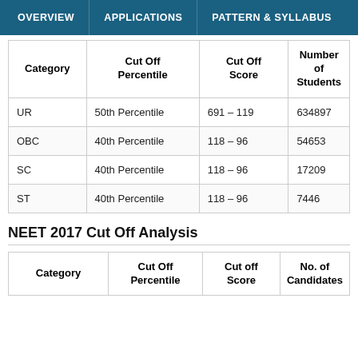OVERVIEW   APPLICATIONS   PATTERN & SYLLABUS
| Category | Cut Off Percentile | Cut Off Score | Number of Students |
| --- | --- | --- | --- |
| UR | 50th Percentile | 691 – 119 | 634897 |
| OBC | 40th Percentile | 118 – 96 | 54653 |
| SC | 40th Percentile | 118 – 96 | 17209 |
| ST | 40th Percentile | 118 – 96 | 7446 |
NEET 2017 Cut Off Analysis
| Category | Cut Off Percentile | Cut off Score | No. of Candidates |
| --- | --- | --- | --- |